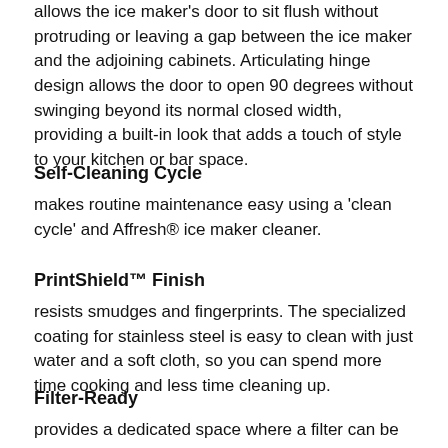allows the ice maker's door to sit flush without protruding or leaving a gap between the ice maker and the adjoining cabinets. Articulating hinge design allows the door to open 90 degrees without swinging beyond its normal closed width, providing a built-in look that adds a touch of style to your kitchen or bar space.
Self-Cleaning Cycle
makes routine maintenance easy using a 'clean cycle' and Affresh® ice maker cleaner.
PrintShield™ Finish
resists smudges and fingerprints. The specialized coating for stainless steel is easy to clean with just water and a soft cloth, so you can spend more time cooking and less time cleaning up.
Filter-Ready
provides a dedicated space where a filter can be inserted to help remove contaminants, improving taste and clarity. A filter is not required but can be purchased separately. Use